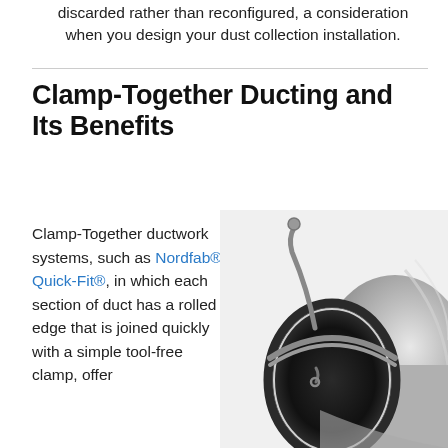discarded rather than reconfigured, a consideration when you design your dust collection installation.
Clamp-Together Ducting and Its Benefits
Clamp-Together ductwork systems, such as Nordfab® Quick-Fit®, in which each section of duct has a rolled edge that is joined quickly with a simple tool-free clamp, offer
[Figure (photo): Close-up photo of a metallic clamp-together duct section showing a round galvanized steel duct with a rolled edge and a black rubber gasket, joined by a metal toggle clamp.]